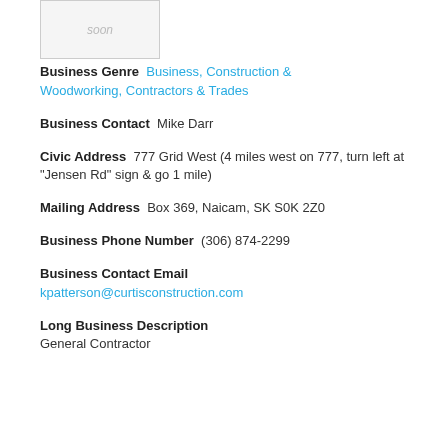[Figure (photo): Placeholder image area with text 'soon']
Business Genre  Business, Construction & Woodworking, Contractors & Trades
Business Contact  Mike Darr
Civic Address  777 Grid West (4 miles west on 777, turn left at "Jensen Rd" sign & go 1 mile)
Mailing Address  Box 369, Naicam, SK S0K 2Z0
Business Phone Number  (306) 874-2299
Business Contact Email  kpatterson@curtisconstruction.com
Long Business Description  General Contractor